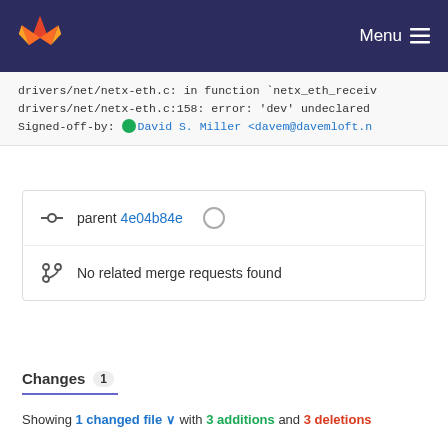GitLab — Menu
drivers/net/netx-eth.c: in function 'netx_eth_receiv
drivers/net/netx-eth.c:158: error: 'dev' undeclared
Signed-off-by: David S. Miller <davem@davemloft.n
parent 4e04b84e
No related merge requests found
Changes 1
Showing 1 changed file with 3 additions and 3 deletions
drivers/net/netx-eth.c
... @@ -128,8 ... @@ -128,8
+128,8 @@			+128,8 @@